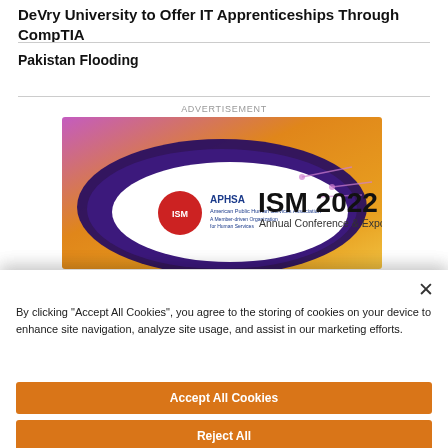DeVry University to Offer IT Apprenticeships Through CompTIA
Pakistan Flooding
ADVERTISEMENT
[Figure (illustration): APHSA ISM 2022 Annual Conference & Expo advertisement banner with purple and orange gradient background and circuit board design elements]
By clicking "Accept All Cookies", you agree to the storing of cookies on your device to enhance site navigation, analyze site usage, and assist in our marketing efforts.
Accept All Cookies
Reject All
Cookies Settings